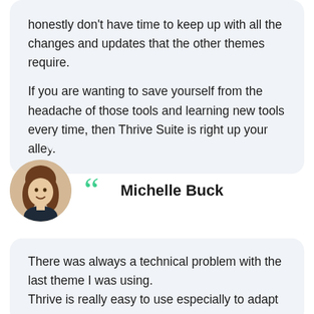honestly don't have time to keep up with all the changes and updates that the other themes require.

If you are wanting to save yourself from the headache of those tools and learning new tools every time, then Thrive Suite is right up your alley.
Michelle Buck
There was always a technical problem with the last theme I was using. Thrive is really easy to use especially to adapt